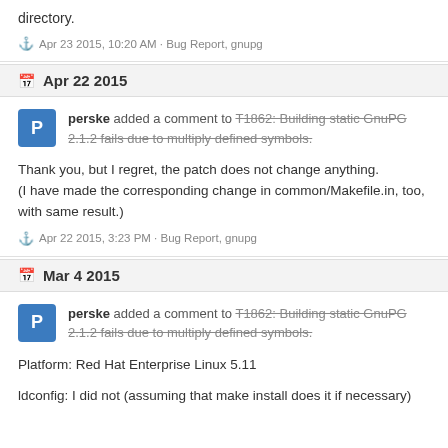directory.
Apr 23 2015, 10:20 AM · Bug Report, gnupg
Apr 22 2015
perske added a comment to T1862: Building static GnuPG 2.1.2 fails due to multiply defined symbols.
Thank you, but I regret, the patch does not change anything. (I have made the corresponding change in common/Makefile.in, too, with same result.)
Apr 22 2015, 3:23 PM · Bug Report, gnupg
Mar 4 2015
perske added a comment to T1862: Building static GnuPG 2.1.2 fails due to multiply defined symbols.
Platform: Red Hat Enterprise Linux 5.11
ldconfig: I did not (assuming that make install does it if necessary)